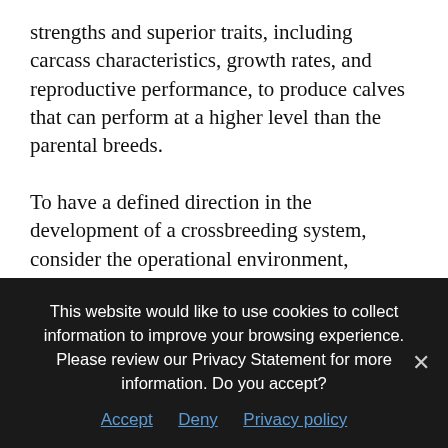strengths and superior traits, including carcass characteristics, growth rates, and reproductive performance, to produce calves that can perform at a higher level than the parental breeds.

To have a defined direction in the development of a crossbreeding system, consider the operational environment, resources, marketability and marketing plan, complementary strengths, and availability of breeds. Set goals will guide which breeds to apply in your crossbreeding system. Breeds selected should complement each other's strengths and be
This website would like to use cookies to collect information to improve your browsing experience. Please review our Privacy Statement for more information. Do you accept?
Accept  Deny  Privacy policy